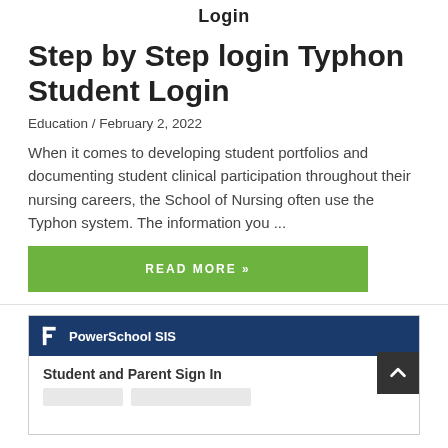Login
Step by Step login Typhon Student Login
Education / February 2, 2022
When it comes to developing student portfolios and documenting student clinical participation throughout their nursing careers, the School of Nursing often use the Typhon system. The information you ...
READ MORE »
[Figure (screenshot): Screenshot of PowerSchool SIS login page showing 'Student and Parent Sign In' heading on a white background with a dark blue header containing the PowerSchool SIS logo.]